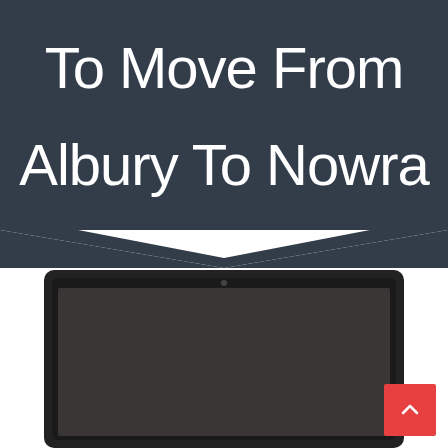To Move From Albury To Nowra
[Figure (illustration): Dark slate-colored banner/ribbon shape with a downward-pointing chevron/arrow at the bottom, containing white text 'To Move From Albury To Nowra']
[Figure (screenshot): Laptop computer mockup with black bezel and dark gray/black screen, shown from front, partially cropped at bottom. A red scroll-to-top button with upward chevron icon appears in the bottom-right corner.]